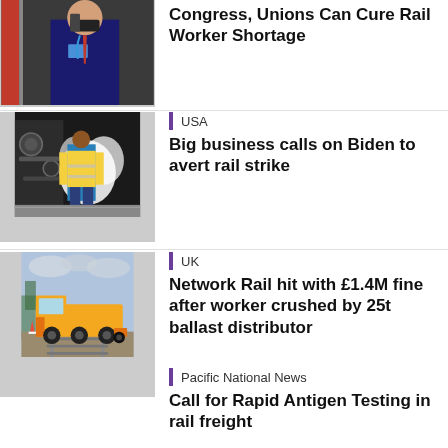[Figure (photo): Rail worker in uniform with mask speaking into radio at train door]
Congress, Unions Can Cure Rail Worker Shortage
[Figure (photo): Worker in hi-vis vest standing next to train machinery with steam]
USA
Big business calls on Biden to avert rail strike
[Figure (photo): Yellow ballast distributor truck on railway track]
UK
Network Rail hit with £1.4M fine after worker crushed by 25t ballast distributor
Pacific National News
Call for Rapid Antigen Testing in rail freight